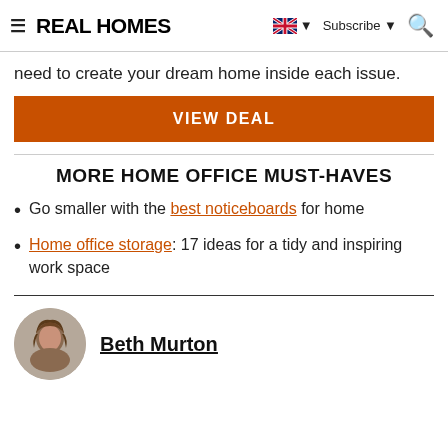REAL HOMES
need to create your dream home inside each issue.
VIEW DEAL
MORE HOME OFFICE MUST-HAVES
Go smaller with the best noticeboards for home
Home office storage: 17 ideas for a tidy and inspiring work space
Beth Murton